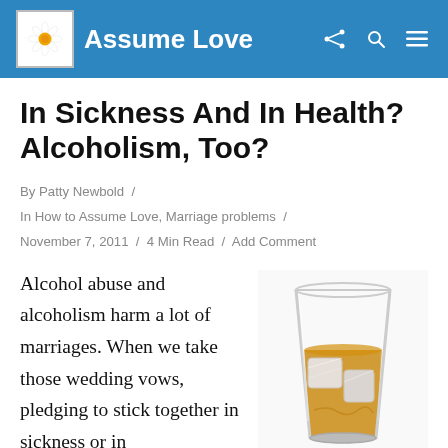Assume Love
In Sickness And In Health? Alcoholism, Too?
By Patty Newbold / In How to Assume Love, Marriage problems / November 7, 2011 / 4 Min Read / Add Comment
[Figure (photo): A glass of whiskey on the rocks (amber liquid with ice cubes in a short glass)]
Alcohol abuse and alcoholism harm a lot of marriages. When we take those wedding vows, pledging to stick together in sickness or in